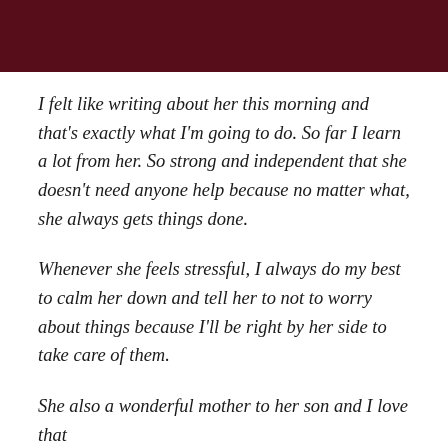I felt like writing about her this morning and that's exactly what I'm going to do. So far I learn a lot from her. So strong and independent that she doesn't need anyone help because no matter what, she always gets things done.
Whenever she feels stressful, I always do my best to calm her down and tell her to not to worry about things because I'll be right by her side to take care of them.
She also a wonderful mother to her son and I love that